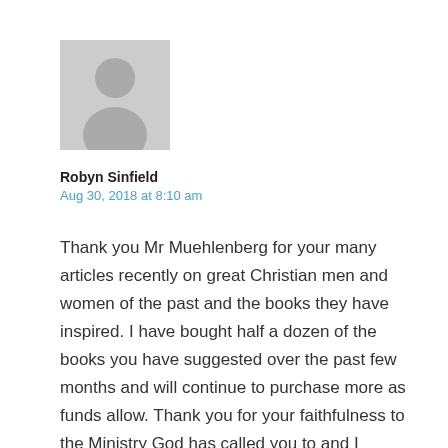[Figure (photo): Default grey avatar placeholder image showing a person silhouette]
Robyn Sinfield
Aug 30, 2018 at 8:10 am
Thank you Mr Muehlenberg for your many articles recently on great Christian men and women of the past and the books they have inspired. I have bought half a dozen of the books you have suggested over the past few months and will continue to purchase more as funds allow. Thank you for your faithfulness to the Ministry God has called you to and I praise Him for the blessings you bring into the lives of others.